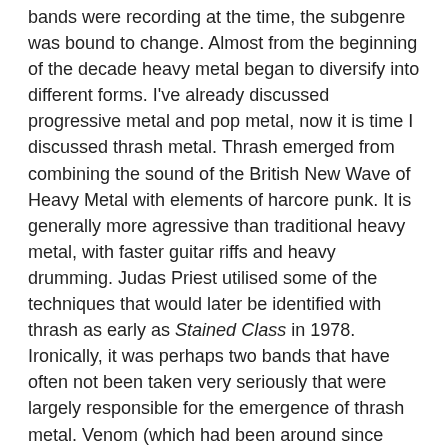bands were recording at the time, the subgenre was bound to change. Almost from the beginning of the decade heavy metal began to diversify into different forms. I've already discussed progressive metal and pop metal, now it is time I discussed thrash metal. Thrash emerged from combining the sound of the British New Wave of Heavy Metal with elements of harcore punk. It is generally more agressive than traditional heavy metal, with faster guitar riffs and heavy drumming. Judas Priest utilised some of the techniques that would later be identified with thrash as early as Stained Class in 1978. Ironically, it was perhaps two bands that have often not been taken very seriously that were largely responsible for the emergence of thrash metal. Venom (which had been around since 1979--Henry Rollins of punk band Black Flag once compared them to Spinal Tap...) and Slayer (formed in 1981) sped up the sound of the BNWHM and combined it with elements of punk. I remember in the early Eighties that neither band was particulary respected. Nonetheless, they are responsible for creating thrash.
By far the most influential thrash metal band would be Metallica. In fact, they are reportedly the most successful